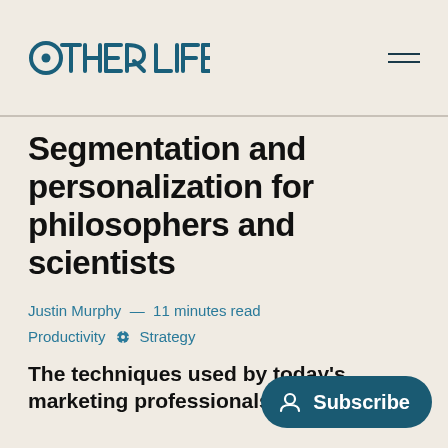OTHER LIFE
Segmentation and personalization for philosophers and scientists
Justin Murphy — 11 minutes read
Productivity ✳ Strategy
The techniques used by today's marketing professionals, such as